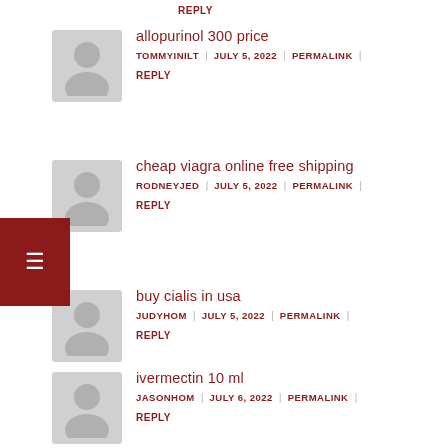REPLY
allopurinol 300 price
TOMMYINILT | JULY 5, 2022 | PERMALINK | REPLY
cheap viagra online free shipping
RODNEYJED | JULY 5, 2022 | PERMALINK | REPLY
buy cialis in usa
JUDYHOM | JULY 5, 2022 | PERMALINK | REPLY
ivermectin 10 ml
JASONHOM | JULY 6, 2022 | PERMALINK | REPLY